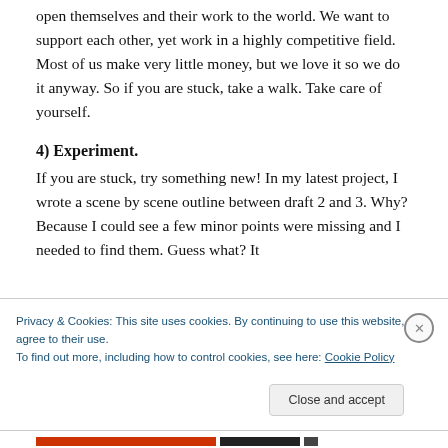open themselves and their work to the world. We want to support each other, yet work in a highly competitive field. Most of us make very little money, but we love it so we do it anyway. So if you are stuck, take a walk. Take care of yourself.
4) Experiment.
If you are stuck, try something new! In my latest project, I wrote a scene by scene outline between draft 2 and 3. Why? Because I could see a few minor points were missing and I needed to find them. Guess what? It
Privacy & Cookies: This site uses cookies. By continuing to use this website, you agree to their use.
To find out more, including how to control cookies, see here: Cookie Policy
Close and accept